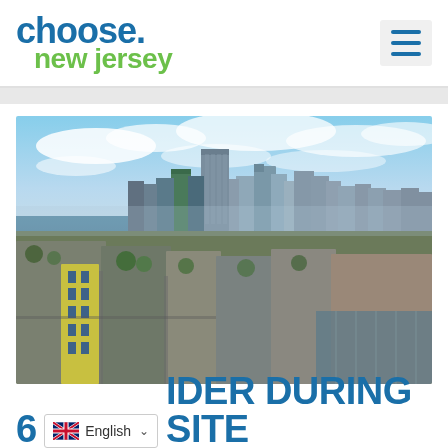choose.new jersey
[Figure (photo): Aerial view of Jersey City and Hoboken with the Hudson River and Manhattan skyline in the background]
6 ... IDER DURING SITE